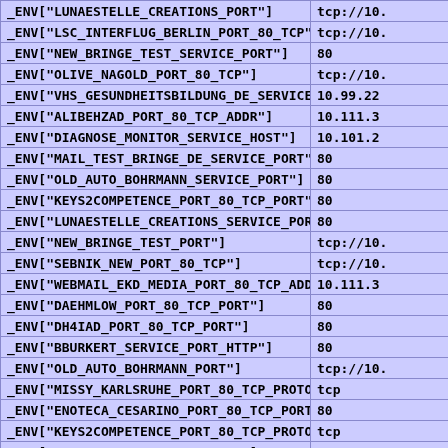| Key | Value |
| --- | --- |
| _ENV["LUNAESTELLE_CREATIONS_PORT"] | tcp://10. |
| _ENV["LSC_INTERFLUG_BERLIN_PORT_80_TCP"] | tcp://10. |
| _ENV["NEW_BRINGE_TEST_SERVICE_PORT"] | 80 |
| _ENV["OLIVE_NAGOLD_PORT_80_TCP"] | tcp://10. |
| _ENV["VHS_GESUNDHEITSBILDUNG_DE_SERVICE_HOST"] | 10.99.22 |
| _ENV["ALIBEHZAD_PORT_80_TCP_ADDR"] | 10.111.3 |
| _ENV["DIAGNOSE_MONITOR_SERVICE_HOST"] | 10.101.2 |
| _ENV["MAIL_TEST_BRINGE_DE_SERVICE_PORT"] | 80 |
| _ENV["OLD_AUTO_BOHRMANN_SERVICE_PORT"] | 80 |
| _ENV["KEYS2COMPETENCE_PORT_80_TCP_PORT"] | 80 |
| _ENV["LUNAESTELLE_CREATIONS_SERVICE_PORT"] | 80 |
| _ENV["NEW_BRINGE_TEST_PORT"] | tcp://10. |
| _ENV["SEBNIK_NEW_PORT_80_TCP"] | tcp://10. |
| _ENV["WEBMAIL_EKD_MEDIA_PORT_80_TCP_ADDR"] | 10.111.3 |
| _ENV["DAEHMLOW_PORT_80_TCP_PORT"] | 80 |
| _ENV["DH4IAD_PORT_80_TCP_PORT"] | 80 |
| _ENV["BBURKERT_SERVICE_PORT_HTTP"] | 80 |
| _ENV["OLD_AUTO_BOHRMANN_PORT"] | tcp://10. |
| _ENV["MISSY_KARLSRUHE_PORT_80_TCP_PROTO"] | tcp |
| _ENV["ENOTECA_CESARINO_PORT_80_TCP_PORT"] | 80 |
| _ENV["KEYS2COMPETENCE_PORT_80_TCP_PROTO"] | tcp |
| _ENV["DH4IAD_PORT_80_TCP_PROTO"] | tcp |